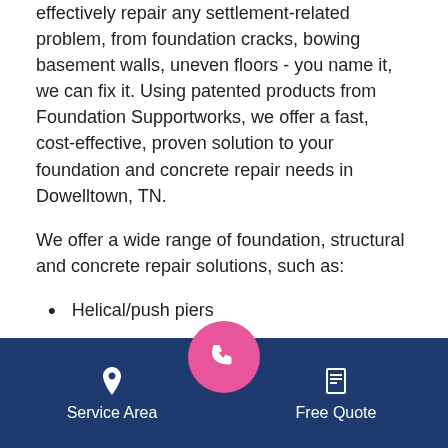effectively repair any settlement-related problem, from foundation cracks, bowing basement walls, uneven floors - you name it, we can fix it. Using patented products from Foundation Supportworks, we offer a fast, cost-effective, proven solution to your foundation and concrete repair needs in Dowelltown, TN.
We offer a wide range of foundation, structural and concrete repair solutions, such as:
Helical/push piers
Wall anchors
Polyurethane concrete slab leveling
Crawl space jacks
Foundation crack rep...
Service Area | [phone] | Free Quote